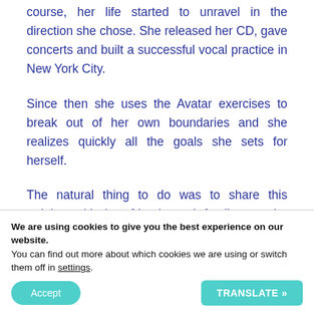course, her life started to unravel in the direction she chose. She released her CD, gave concerts and built a successful vocal practice in New York City.
Since then she uses the Avatar exercises to break out of her own boundaries and she realizes quickly all the goals she sets for herself.
The natural thing to do was to share this training with her friends and family, so she decided to take the training to become a Master and has been delivering the course since
We are using cookies to give you the best experience on our website.
You can find out more about which cookies we are using or switch them off in settings.